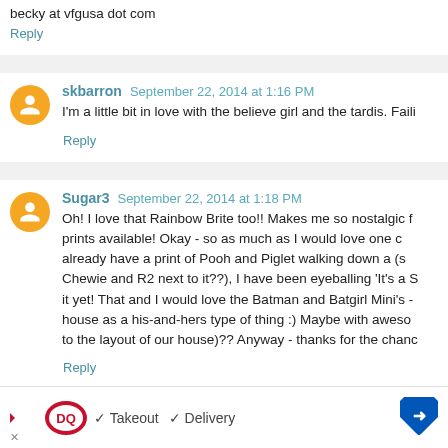becky at vfgusa dot com
Reply
skbarron  September 22, 2014 at 1:16 PM
I'm a little bit in love with the believe girl and the tardis. Faili
Reply
Sugar3  September 22, 2014 at 1:18 PM
Oh! I love that Rainbow Brite too!! Makes me so nostalgic f prints available! Okay - so as much as I would love one c already have a print of Pooh and Piglet walking down a (s Chewie and R2 next to it??), I have been eyeballing 'It's a S it yet! That and I would love the Batman and Batgirl Mini's - house as a his-and-hers type of thing :) Maybe with aweso to the layout of our house)?? Anyway - thanks for the chanc
Reply
sjflinders  September 22, 2014 at 1:18 PM
Wookie the Chewl so adorable